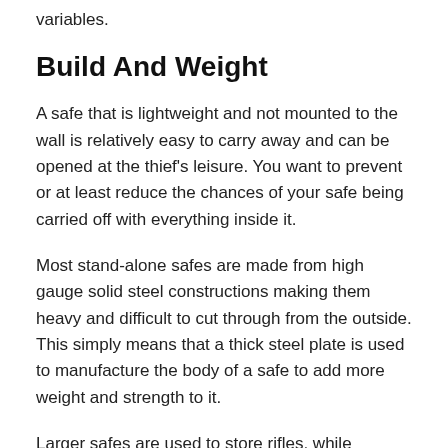variables.
Build And Weight
A safe that is lightweight and not mounted to the wall is relatively easy to carry away and can be opened at the thief's leisure. You want to prevent or at least reduce the chances of your safe being carried off with everything inside it.
Most stand-alone safes are made from high gauge solid steel constructions making them heavy and difficult to cut through from the outside. This simply means that a thick steel plate is used to manufacture the body of a safe to add more weight and strength to it.
Larger safes are used to store rifles, while